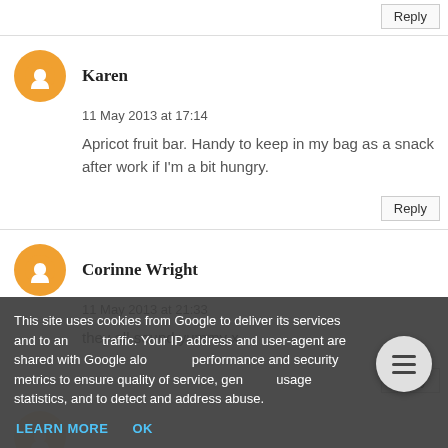Reply
Karen
11 May 2013 at 17:14
Apricot fruit bar. Handy to keep in my bag as a snack after work if I'm a bit hungry.
Reply
Corinne Wright
11 May 2013 at 21:33
they all sound yummy x
Reply
This site uses cookies from Google to deliver its services and to analyze traffic. Your IP address and user-agent are shared with Google along with performance and security metrics to ensure quality of service, generate usage statistics, and to detect and address abuse.
LEARN MORE   OK